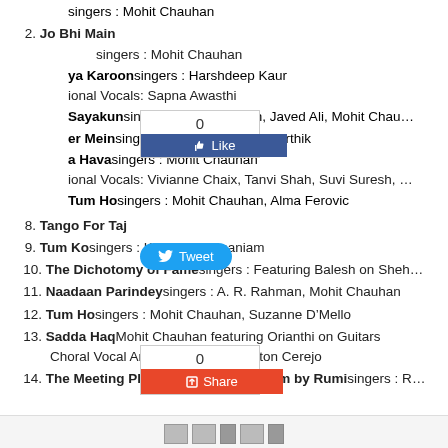singers : Mohit Chauhan
2. Jo Bhi Main singers : Mohit Chauhan
ya Karoon singers : Harshdeep Kaur itional Vocals: Sapna Awasthi
Sayakun singers : A. R. Rahman, Javed Ali, Mohit Chau...
er Mein singers : Mohit Chauhan, Karthik
a Hava singers : Mohit Chauhan itional Vocals: Vivianne Chaix, Tanvi Shah, Suvi Suresh...
Tum Ho singers : Mohit Chauhan, Alma Ferovic
8. Tango For Taj
9. Tum Ko singers : Kavita Subamaniam
10. The Dichotomy of Fame singers : Featuring Balesh on Sheh...
11. Naadaan Parindey singers : A. R. Rahman, Mohit Chauhan
12. Tum Ho singers : Mohit Chauhan, Suzanne D’Mello
13. Sadda Haq Mohit Chauhan featuring Orianthi on Guitars Choral Vocal Arrangements by Clinton Cerejo
14. The Meeting Place – Based on a poem by Rumi singers : R...